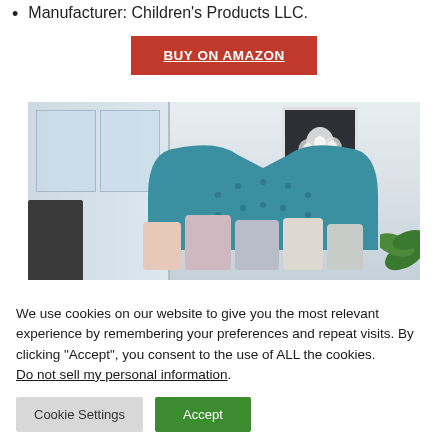Manufacturer: Children's Products LLC.
BUY ON AMAZON
[Figure (photo): Bedroom scene showing a teal upholstered headboard with button tufting, decorative pillows in pink, grey and white, large windows on the left, a floral painting on the wall, a dark chair partially visible on the left, and tropical plant leaves on the right.]
We use cookies on our website to give you the most relevant experience by remembering your preferences and repeat visits. By clicking “Accept”, you consent to the use of ALL the cookies. Do not sell my personal information.
Cookie Settings
Accept